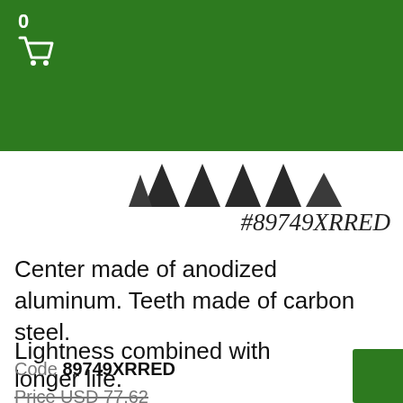0 [cart icon]
[Figure (photo): Partial view of saw blade teeth at the top of the product image area]
#89749XRRED
Center made of anodized aluminum. Teeth made of carbon steel.
Lightness combined with longer life.
Code 89749XRRED
Price USD 77.62
Price USD 69.86